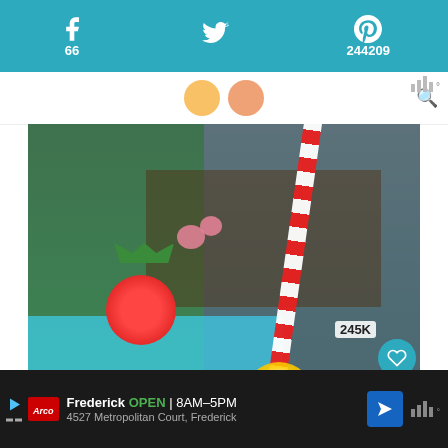Social share bar: Facebook 66, Twitter (bird icon), Pinterest 244209
[Figure (photo): A strawberry daiquiri cocktail in a glass with a fresh strawberry on top, a red and white striped straw, and a lemon/orange slice, photographed outdoors near a blue swimming pool with plants and a wooden deck in the background. Heart save button showing 245K, share button, and 'WHAT'S NEXT' panel showing 'Strawberry Jam {Withou...']
WHAT'S NEXT → Strawberry Jam {Withou...
Frederick  OPEN | 8AM–5PM  4527 Metropolitan Court, Frederick